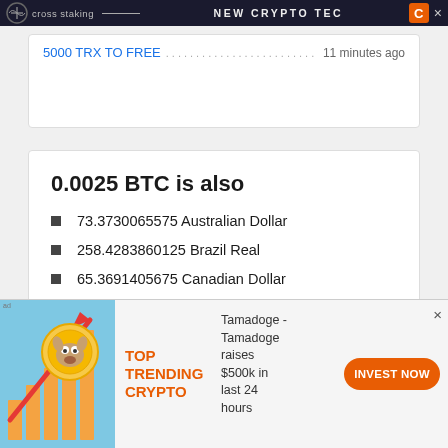cross staking  NEW CRYPTO TEC  C ×
5000 TRX TO FREE ................................ 11 minutes ago
0.0025 BTC is also
73.3730065575 Australian Dollar
258.4283860125 Brazil Real
65.3691405675 Canadian Dollar
[Figure (illustration): Ad banner with Tamadoge crypto dog coin graphic, bar chart, orange arrow going up on blue background]
TOP TRENDING CRYPTO
Tamadoge - Tamadoge raises $500k in last 24 hours
INVEST NOW